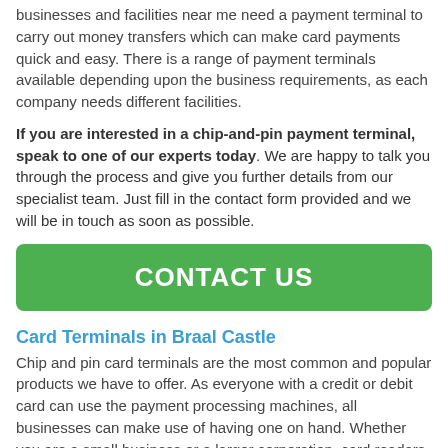businesses and facilities near me need a payment terminal to carry out money transfers which can make card payments quick and easy. There is a range of payment terminals available depending upon the business requirements, as each company needs different facilities.
If you are interested in a chip-and-pin payment terminal, speak to one of our experts today. We are happy to talk you through the process and give you further details from our specialist team. Just fill in the contact form provided and we will be in touch as soon as possible.
[Figure (other): Green CONTACT US button]
Card Terminals in Braal Castle
Chip and pin card terminals are the most common and popular products we have to offer. As everyone with a credit or debit card can use the payment processing machines, all businesses can make use of having one on hand. Whether you are a small business or a larger corporation, card readers are a great way to